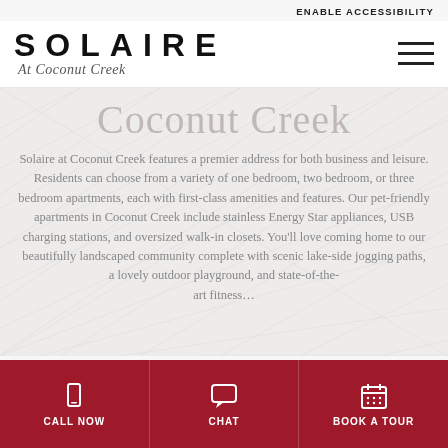ENABLE ACCESSIBILITY
SOLAIRE At Coconut Creek
Coconut Creek
Solaire at Coconut Creek features a premier address for both business and leisure. Residents can choose from a variety of one bedroom, two bedroom, or three bedroom apartments, each with first-class amenities and features. Our pet-friendly apartments in Coconut Creek include stainless Energy Star appliances, USB charging stations, and oversized walk-in closets. You'll love coming home to our beautifully landscaped community complete with scenic lake-side jogging paths, a lovely outdoor playground, and state-of-the-
CALL NOW | CHAT | BOOK A TOUR